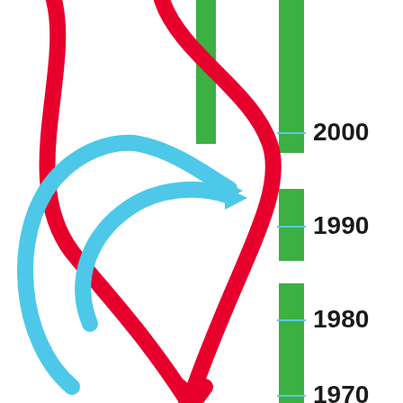[Figure (infographic): A scientific infographic showing red curved arrows (two converging paths from top), a blue looping arrow, and green vertical bars (timeline segments) on the right side. Year labels 2000, 1990, 1980, 1970 are marked on the right with cyan tick marks against a white background.]